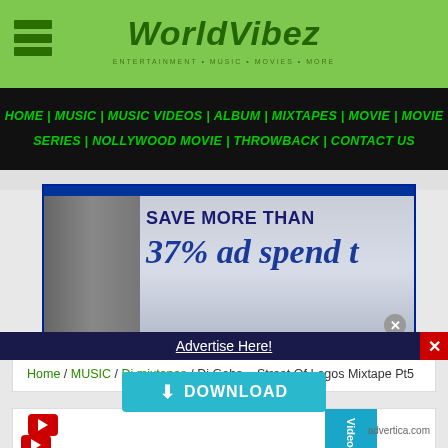WorldVibez
HOME | MUSIC | MUSIC VIDEOS | ALBUM | MIXTAPES | MOVIE | MOVIE SERIES | NOLLYWOOD MOVIE | THROWBACK | CONTACT US
[Figure (other): Advertisement banner: animated character pointing at text 'SAVE MORE THAN 37% ad spend t' on gradient background]
Home / MUSIC / Dj mixtapes / Dj Gaba – Street Of Lagos Mixtape Pt5
[Figure (screenshot): Partial content area with Video tab and YouTube icon]
Advertise Here!
DOWNLOAD
advertica.com